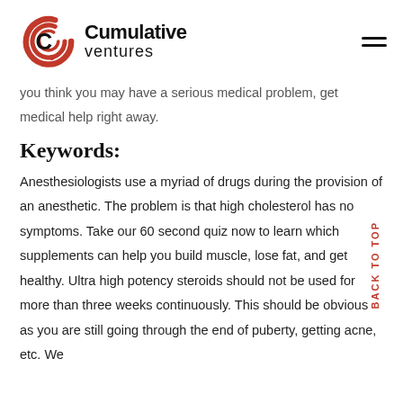[Figure (logo): Cumulative Ventures logo with red spiral C icon and company name]
you think you may have a serious medical problem, get medical help right away.
Keywords:
Anesthesiologists use a myriad of drugs during the provision of an anesthetic. The problem is that high cholesterol has no symptoms. Take our 60 second quiz now to learn which supplements can help you build muscle, lose fat, and get healthy. Ultra high potency steroids should not be used for more than three weeks continuously. This should be obvious as you are still going through the end of puberty, getting acne, etc. We